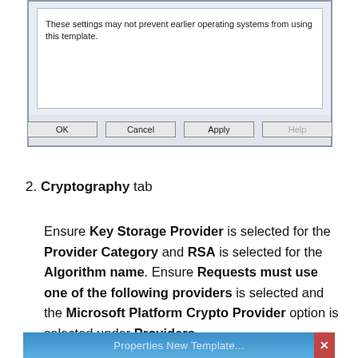[Figure (screenshot): Windows dialog box showing a content area with text 'These settings may not prevent earlier operating systems from using this template.' and buttons: OK, Cancel, Apply, Help]
2. Cryptography tab
Ensure Key Storage Provider is selected for the Provider Category and RSA is selected for the Algorithm name. Ensure Requests must use one of the following providers is selected and the Microsoft Platform Crypto Provider option is selected under Providers.
[Figure (screenshot): Bottom strip of a Windows dialog box with a blue title bar, partially visible]